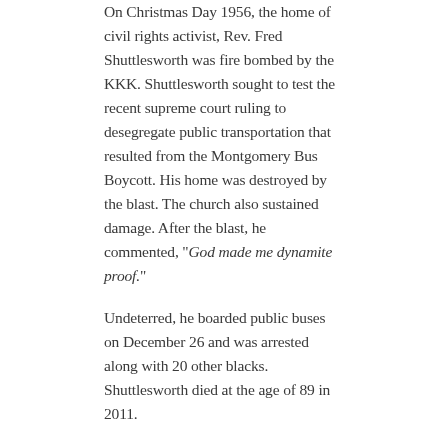On Christmas Day 1956, the home of civil rights activist, Rev. Fred Shuttlesworth was fire bombed by the KKK. Shuttlesworth sought to test the recent supreme court ruling to desegregate public transportation that resulted from the Montgomery Bus Boycott. His home was destroyed by the blast. The church also sustained damage. After the blast, he commented, "God made me dynamite proof."
Undeterred, he boarded public buses on December 26 and was arrested along with 20 other blacks. Shuttlesworth died at the age of 89 in 2011.
Source:
https://www.google.com/amp/s/www.biography.com/.amp/people/fred-shuttlesworth-21389361